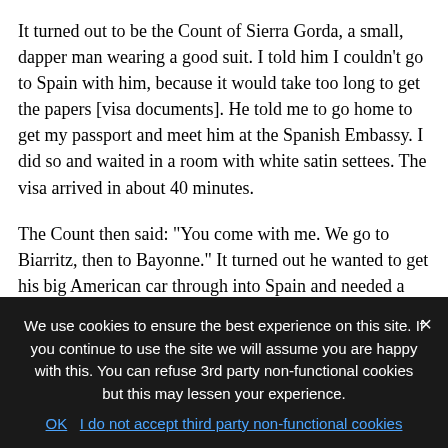It turned out to be the Count of Sierra Gorda, a small, dapper man wearing a good suit. I told him I couldn't go to Spain with him, because it would take too long to get the papers [visa documents]. He told me to go home to get my passport and meet him at the Spanish Embassy. I did so and waited in a room with white satin settees. The visa arrived in about 40 minutes.
The Count then said: "You come with me. We go to Biarritz, then to Bayonne." It turned out he wanted to get his big American car through into Spain and needed a translator to help cross the border from France. He spoke Spanish and
We use cookies to ensure the best experience on this site. If you continue to use the site we will assume you are happy with this. You can refuse 3rd party non-functional cookies but this may lessen your experience.
OK   I do not accept third party non-functional cookies